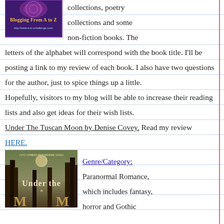[Figure (logo): Blogging From A to Z logo with purple/teal design and URL http://www.a-to-zchallenge.com/]
collections, poetry collections and some non-fiction books. The letters of the alphabet will correspond with the book title. I'll be posting a link to my review of each book. I also have two questions for the author, just to spice things up a little.
Hopefully, visitors to my blog will be able to increase their reading lists and also get ideas for their wish lists.
Under The Tuscan Moon by Denise Covey. Read my review HERE.
[Figure (photo): Book cover: Under the Tuscuan Moon - First in the Classic Vampire Series]
Genre/Category: Paranormal Romance, which includes fantasy, horror and Gothic